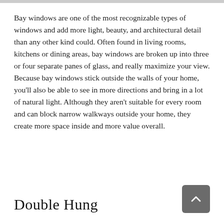Bay windows are one of the most recognizable types of windows and add more light, beauty, and architectural detail than any other kind could. Often found in living rooms, kitchens or dining areas, bay windows are broken up into three or four separate panes of glass, and really maximize your view. Because bay windows stick outside the walls of your home, you'll also be able to see in more directions and bring in a lot of natural light. Although they aren't suitable for every room and can block narrow walkways outside your home, they create more space inside and more value overall.
Double Hung